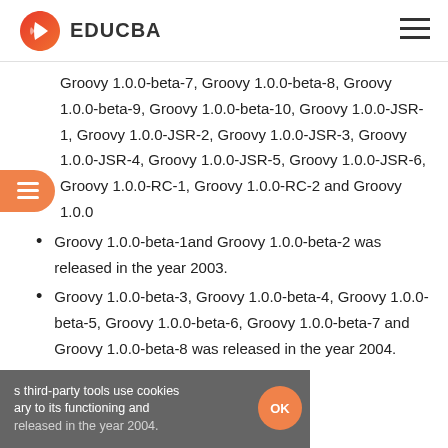EDUCBA
Groovy 1.0.0-beta-7, Groovy 1.0.0-beta-8, Groovy 1.0.0-beta-9, Groovy 1.0.0-beta-10, Groovy 1.0.0-JSR-1, Groovy 1.0.0-JSR-2, Groovy 1.0.0-JSR-3, Groovy 1.0.0-JSR-4, Groovy 1.0.0-JSR-5, Groovy 1.0.0-JSR-6, Groovy 1.0.0-RC-1, Groovy 1.0.0-RC-2 and Groovy 1.0.0
Groovy 1.0.0-beta-1and Groovy 1.0.0-beta-2 was released in the year 2003.
Groovy 1.0.0-beta-3, Groovy 1.0.0-beta-4, Groovy 1.0.0-beta-5, Groovy 1.0.0-beta-6, Groovy 1.0.0-beta-7 and Groovy 1.0.0-beta-8 was released in the year 2004.
s third-party tools use cookies OK ary to its functioning and released in the year 2004.